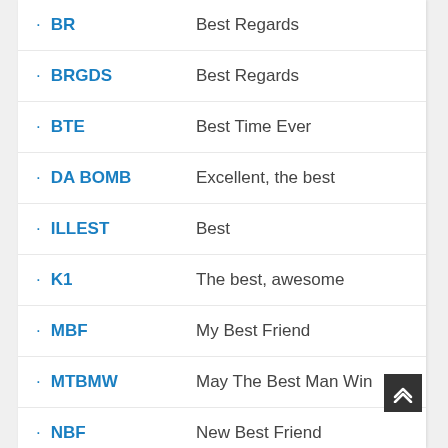BR – Best Regards
BRGDS – Best Regards
BTE – Best Time Ever
DA BOMB – Excellent, the best
ILLEST – Best
K1 – The best, awesome
MBF – My Best Friend
MTBMW – May The Best Man Win
NBF – New Best Friend
OBO – Or Best Offer
PB – Personal Best
TCBY – The Country's Best Yogurt